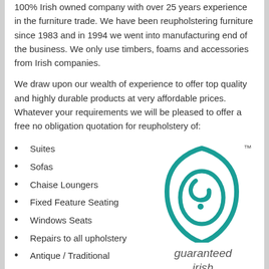100% Irish owned company with over 25 years experience in the furniture trade. We have been reupholstering furniture since 1983 and in 1994 we went into manufacturing end of the business. We only use timbers, foams and accessories from Irish companies.
We draw upon our wealth of experience to offer top quality and highly durable products at very affordable prices. Whatever your requirements we will be pleased to offer a free no obligation quotation for reupholstery of:
Suites
Sofas
Chaise Loungers
Fixed Feature Seating
Windows Seats
Repairs to all upholstery
Antique / Traditional
Modern Comtemporary
Caravans / Mobile Homes
Hair Dressing Salons
Mobile Beauty Services
[Figure (logo): Guaranteed Irish logo — teal teardrop/shield shape with stylized 'G' letter inside, with TM mark, and text 'guaranteed irish' in italic gray below]